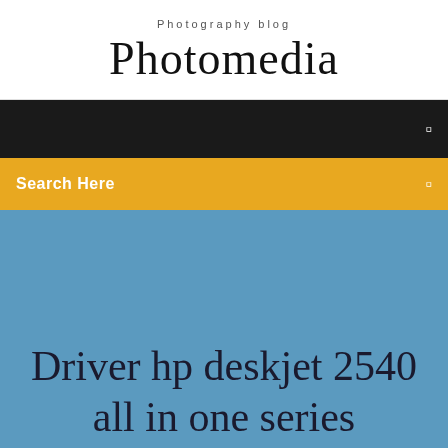Photography blog
Photomedia
Search Here
Driver hp deskjet 2540 all in one series